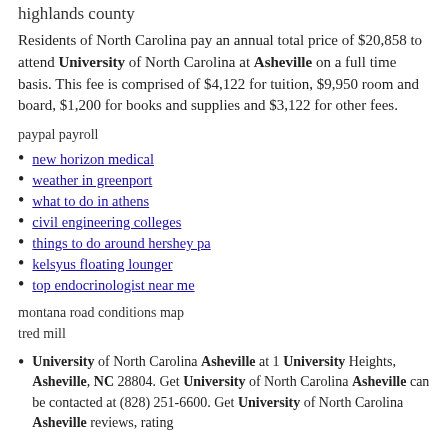highlands county
Residents of North Carolina pay an annual total price of $20,858 to attend University of North Carolina at Asheville on a full time basis. This fee is comprised of $4,122 for tuition, $9,950 room and board, $1,200 for books and supplies and $3,122 for other fees.
paypal payroll
new horizon medical
weather in greenport
what to do in athens
civil engineering colleges
things to do around hershey pa
kelsyus floating lounger
top endocrinologist near me
montana road conditions map
tred mill
University of North Carolina Asheville at 1 University Heights, Asheville, NC 28804. Get University of North Carolina Asheville can be contacted at (828) 251-6600. Get University of North Carolina Asheville reviews, rating